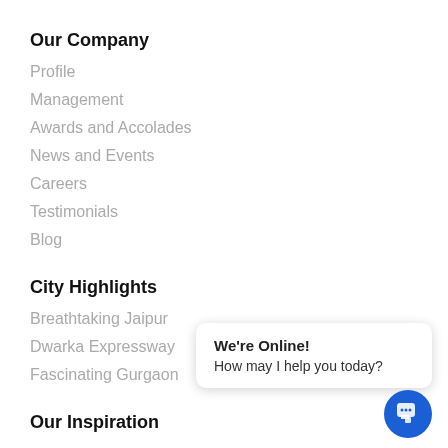Our Company
Profile
Management
Awards and Accolades
News and Events
Careers
Testimonials
Blog
City Highlights
Breathtaking Jaipur
Dwarka Expressway
Fascinating Gurgaon
Our Inspiration
Completed Projects
We're Online! How may I help you today?